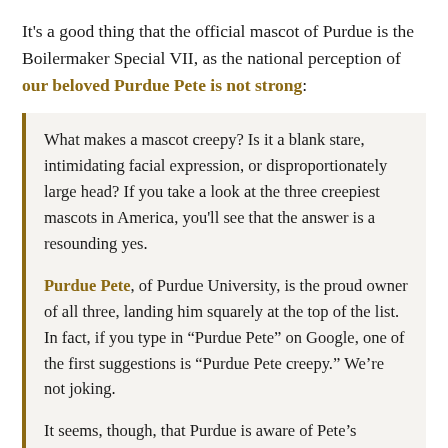It's a good thing that the official mascot of Purdue is the Boilermaker Special VII, as the national perception of our beloved Purdue Pete is not strong:
What makes a mascot creepy? Is it a blank stare, intimidating facial expression, or disproportionately large head? If you take a look at the three creepiest mascots in America, you'll see that the answer is a resounding yes.
Purdue Pete, of Purdue University, is the proud owner of all three, landing him squarely at the top of the list. In fact, if you type in "Purdue Pete" on Google, one of the first suggestions is "Purdue Pete creepy." We're not joking.
It seems, though, that Purdue is aware of Pete's reputation. Former athletic director Morgan Burke...